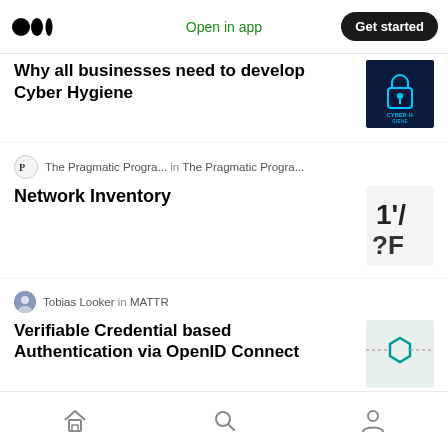Medium app nav bar with logo, Open in app link, and Get started button
Why all businesses need to develop Cyber Hygiene
The Pragmatic Progra... in The Pragmatic Progra...
Network Inventory
Tobias Looker in MATTR
Verifiable Credential based Authentication via OpenID Connect
Oren Yunger
The cybersecurity trends to watch next: Not Breaking the Supply Chain
Bottom navigation: Home, Search, Profile